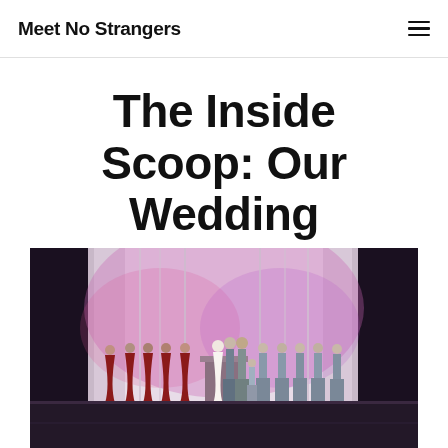Meet No Strangers
The Inside Scoop: Our Wedding
FROM THE HEART, STATESIDE
X   APRIL 7, 2020
[Figure (photo): Wedding ceremony photo showing a couple at the altar on a stage with draped white curtains lit in pink/purple. Bridesmaids in red dresses on the left, groomsmen in grey suits on the right.]